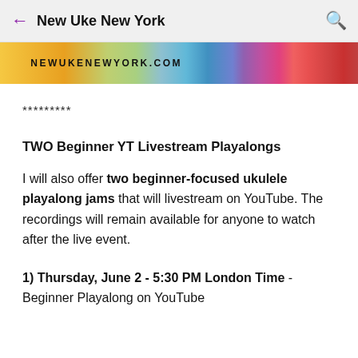New Uke New York
[Figure (photo): Banner image for newukenewyork.com with colorful background and text NEWUKENEWYORK.COM]
*********
TWO Beginner YT Livestream Playalongs
I will also offer two beginner-focused ukulele playalong jams that will livestream on YouTube. The recordings will remain available for anyone to watch after the live event.
1) Thursday, June 2 - 5:30 PM London Time - Beginner Playalong on YouTube